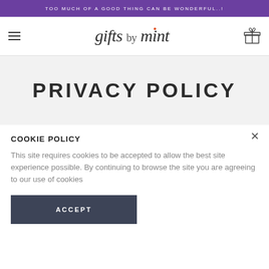TOO MUCH OF A GOOD THING CAN BE WONDERFUL..!
[Figure (logo): Gifts by Mint logo with hamburger menu icon on the left and gift box icon on the right]
PRIVACY POLICY
COOKIE POLICY
This site requires cookies to be accepted to allow the best site experience possible. By continuing to browse the site you are agreeing to our use of cookies
ACCEPT